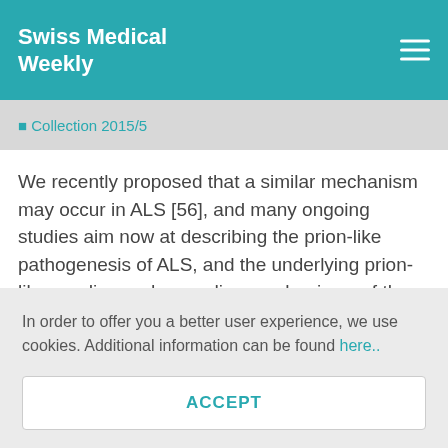Swiss Medical Weekly
⬛ Collection 2015/5
We recently proposed that a similar mechanism may occur in ALS [56], and many ongoing studies aim now at describing the prion-like pathogenesis of ALS, and the underlying prion-like seeding and spreading mechanisms of the proteins implicated in the disorder. Those could lead, from a single protein-misfoldin…
In order to offer you a better user experience, we use cookies. Additional information can be found here..
ACCEPT